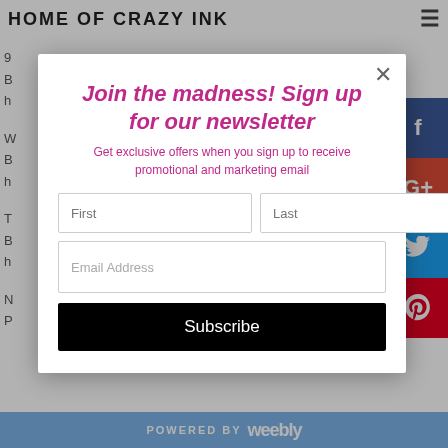HOME OF CRAZY INK
[Figure (screenshot): Newsletter signup modal popup overlay on website. Contains title 'Join the madness! Sign up for our newsletter', subtitle about exclusive offers, First/Last name inputs, Email Address input, and Subscribe button. Social media buttons (Facebook, Google+, Twitter, Pinterest) visible on right side.]
POWERED BY weebly